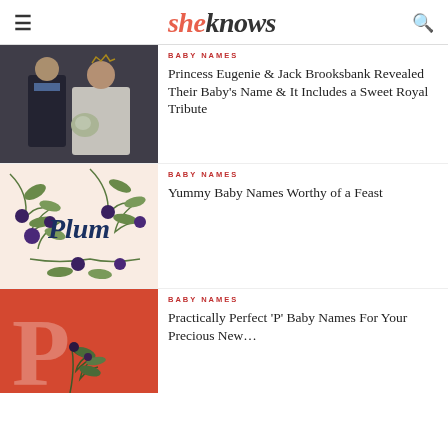sheknows
[Figure (photo): Wedding photo of Princess Eugenie and Jack Brooksbank smiling, Eugenie in a white wedding dress holding a bouquet]
BABY NAMES
Princess Eugenie & Jack Brooksbank Revealed Their Baby's Name & It Includes a Sweet Royal Tribute
[Figure (illustration): Peach/cream background with illustrated plum branches and berries and the word 'Plum' in dark blue italic script]
BABY NAMES
Yummy Baby Names Worthy of a Feast
[Figure (illustration): Red/orange background with a large white letter P and illustrated botanical leaves]
BABY NAMES
Practically Perfect 'P' Baby Names For Your Precious New...